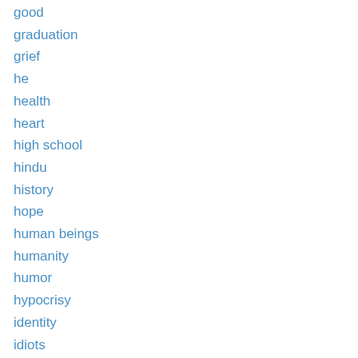good
graduation
grief
he
health
heart
high school
hindu
history
hope
human beings
humanity
humor
hypocrisy
identity
idiots
ignorance
insecurity
jerks
jesus